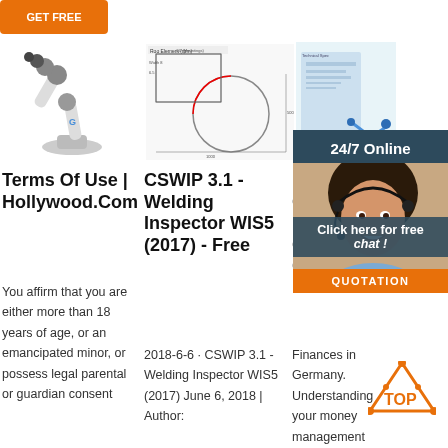[Figure (illustration): Orange button at top left (partially visible)]
[Figure (photo): White robotic arm with multiple joints]
[Figure (engineering-diagram): Technical engineering drawing with circular component]
[Figure (illustration): Blue technical/welding diagram with robotic element]
Terms Of Use | Hollywood.Com
CSWIP 3.1 - Welding Inspector WIS5 (2017) - Free
Fina Gerr Expa Guic Gerr
You affirm that you are either more than 18 years of age, or an emancipated minor, or possess legal parental or guardian consent
2018-6-6 · CSWIP 3.1 - Welding Inspector WIS5 (2017) June 6, 2018 | Author:
Finances in Germany. Understanding your money management options as an expat living in
[Figure (infographic): 24/7 Online chat widget with customer service representative photo, 'Click here for free chat!' and QUOTATION button]
[Figure (logo): TOP badge orange triangle with dots]